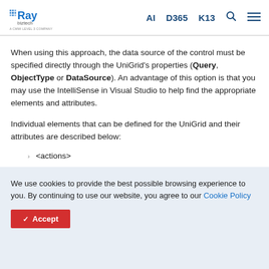Ray Biztech | A CMMI LEVEL 3 COMPANY | AI | D365 | K13
When using this approach, the data source of the control must be specified directly through the UniGrid's properties (Query, ObjectType or DataSource). An advantage of this option is that you may use the IntelliSense in Visual Studio to help find the appropriate elements and attributes.
Individual elements that can be defined for the UniGrid and their attributes are described below:
<actions>
<columns>
We use cookies to provide the best possible browsing experience to you. By continuing to use our website, you agree to our Cookie Policy